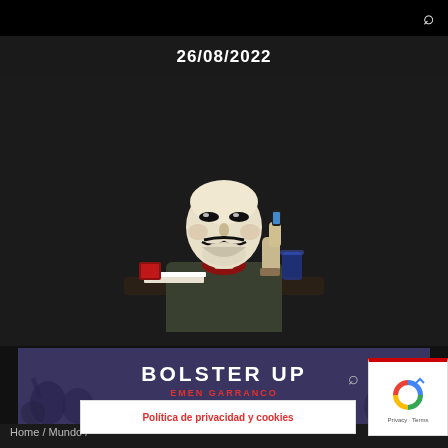26/08/2022
[Figure (photo): Person wearing a Guy Fawkes (Anonymous) mask sitting at a desk, holding a phone, with documents and a glass on the desk, dark background]
[Figure (infographic): Dark purple banner with crowd background showing title 'BOLSTER UP', subtitle in red, and source 'MerkInfo']
BOLSTER UP
MerkInfo
Política de privacidad y cookies
Home / Mundo /